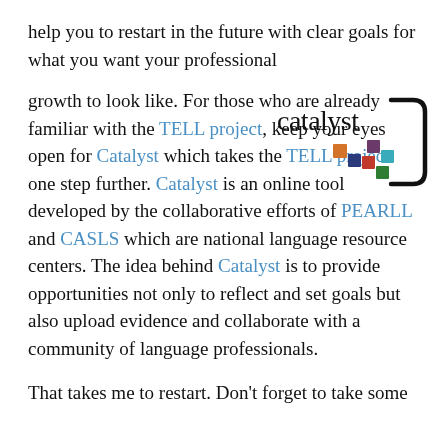help you to restart in the future with clear goals for what you want your professional
[Figure (logo): Catalyst logo: the word 'catalyst' in black serif font with a stylized pentagon bracket on the right and colorful small squares (orange, purple, dark blue, red, teal, green) arranged below]
growth to look like. For those who are already familiar with the TELL project, keep your eyes open for Catalyst which takes the TELL project one step further. Catalyst is an online tool developed by the collaborative efforts of PEARLL and CASLS which are national language resource centers. The idea behind Catalyst is to provide opportunities not only to reflect and set goals but also upload evidence and collaborate with a community of language professionals.
That takes me to restart. Don't forget to take some